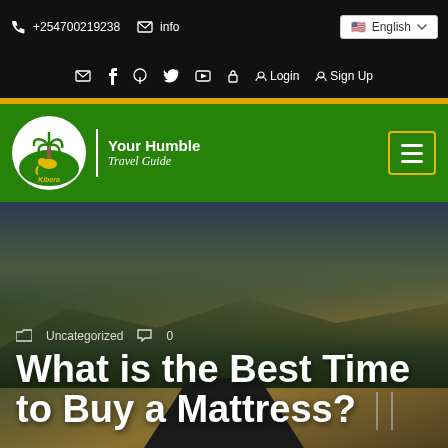+254700219238   info@...   English
Login   Sign Up
[Figure (logo): Kibera Holiday Safaris logo — circular logo with palm tree and animal silhouette, green background, with tagline 'Your Humble Travel Guide']
Uncategorized   0
What is the Best Time to Buy a Mattress?